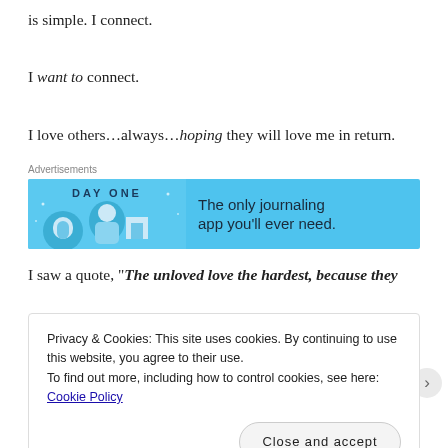is simple. I connect.
I want to connect.
I love others…always…hoping they will love me in return.
Advertisements
[Figure (illustration): Day One journaling app advertisement banner with blue background, showing app icon characters and text 'The only journaling app you'll ever need.']
I saw a quote, "The unloved love the hardest, because they
Privacy & Cookies: This site uses cookies. By continuing to use this website, you agree to their use.
To find out more, including how to control cookies, see here: Cookie Policy
Close and accept